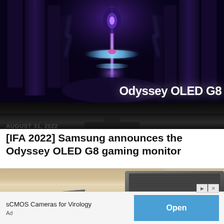[Figure (photo): Samsung Odyssey OLED G8 gaming monitor showing a dark fantasy game scene with purple/blue lighting effects and 'Odyssey OLED G8' text on screen]
AUGUST 31, 2022
[IFA 2022] Samsung announces the Odyssey OLED G8 gaming monitor
[Figure (photo): Dark gray/charcoal colored speaker or electronic device photographed on a light wooden surface]
sCMOS Cameras for Virology
Open
Ad